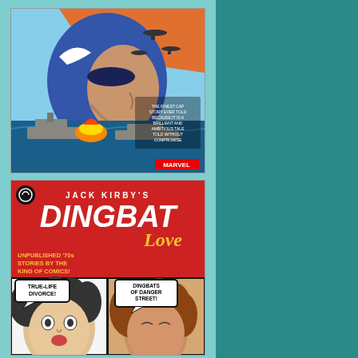[Figure (illustration): Captain America comic book cover showing the hero in profile against a WWII battle scene with warships and aircraft, published by Marvel]
[Figure (illustration): Jack Kirby's Dingbat Love comic book cover in red with white and yellow text, featuring comic panels showing a woman's face with speech bubbles reading 'True-Life Divorce!' and 'Dingbats of Danger Street!']